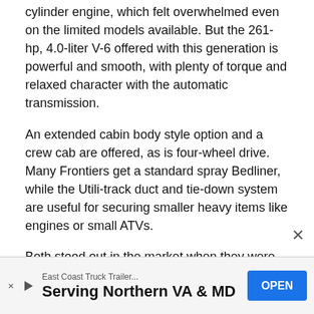cylinder engine, which felt overwhelmed even on the limited models available. But the 261-hp, 4.0-liter V-6 offered with this generation is powerful and smooth, with plenty of torque and relaxed character with the automatic transmission.
An extended cabin body style option and a crew cab are offered, as is four-wheel drive. Many Frontiers get a standard spray Bedliner, while the Utili-track duct and tie-down system are useful for securing smaller heavy items like engines or small ATVs.
Both stood out in the market when they were introduced but have since been adopted by other truck makers.
For 2017, the Frontier remains largely unchanged apart from a new body-colored rear bumper on the base S trim level and a new Work Truck package for the model which adds utility-
[Figure (other): Advertisement banner: East Coast Truck Trailer... Serving Northern VA & MD with OPEN button]